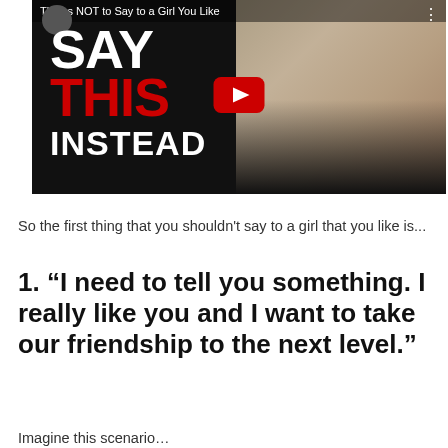[Figure (screenshot): YouTube video thumbnail titled 'Things NOT to Say to a Girl You Like' showing large text SAY THIS INSTEAD on a black background with a blonde woman and a YouTube play button]
So the first thing that you shouldn't say to a girl that you like is...
1. “I need to tell you something. I really like you and I want to take our friendship to the next level.”
Imagine this scenario…